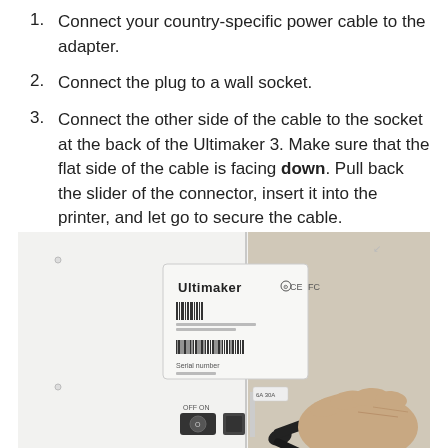Connect your country-specific power cable to the adapter.
Connect the plug to a wall socket.
Connect the other side of the cable to the socket at the back of the Ultimaker 3. Make sure that the flat side of the cable is facing down. Pull back the slider of the connector, insert it into the printer, and let go to secure the cable.
[Figure (photo): Photo showing the back panel of an Ultimaker 3 printer with a label, barcode, serial number, power switch (OFF/ON), and a hand inserting a power cable into the connector socket.]